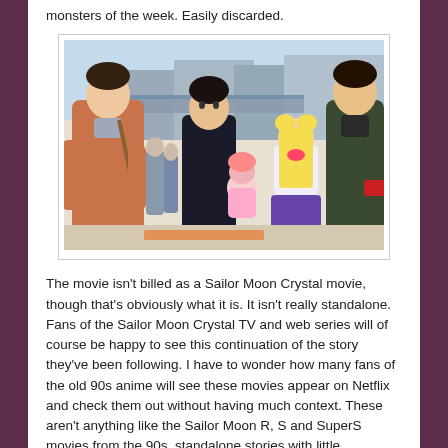monsters of the week. Easily discarded.
[Figure (photo): Anime screenshot from Sailor Moon Crystal showing multiple characters in an urban outdoor setting. Left: a young man in a brown hoodie with a bag. Center: a tall dark-haired man in black and a blonde girl (Sailor Moon/Usagi) in a school uniform with a small pink-haired child. Right: another young man in a dark coat looking at a red device.]
The movie isn't billed as a Sailor Moon Crystal movie, though that's obviously what it is. It isn't really standalone. Fans of the Sailor Moon Crystal TV and web series will of course be happy to see this continuation of the story they've been following. I have to wonder how many fans of the old 90s anime will see these movies appear on Netflix and check them out without having much context. These aren't anything like the Sailor Moon R, S and SuperS movies from the 90s, standalone stories with little connection to the TV series. That said these movies do present a single story arc which begins and ends with